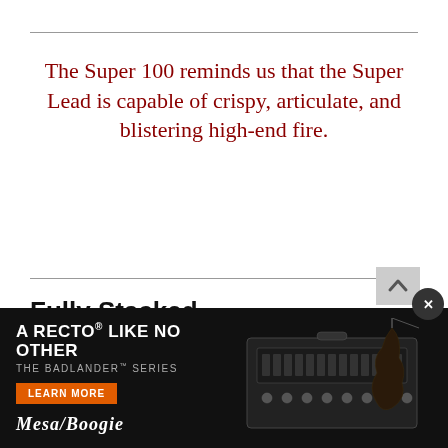The Super 100 reminds us that the Super Lead is capable of crispy, articulate, and blistering high-end fire.
Fully Stacked
When you think of classic Super Lead tone, your mind's ear probably hears thick, crunchy midrange sailing over a wallop of low-end thump. But the Super 100 reminds us that the Super Lead is capable of crispy, articulate, and blistering high-end fire, too, and Skreddy summons this facet ... The drive d... o medium... But when y... oser to
[Figure (other): Advertisement overlay: A RECTO LIKE NO OTHER, THE BADLANDER SERIES, LEARN MORE button, Mesa/Boogie logo, with image of guitar amplifier head]